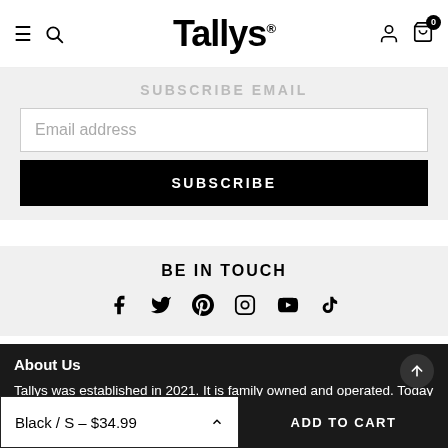Tallys® — navigation header with hamburger menu, search icon, logo, user icon, cart (0)
SUBSCRIBE EMAIL
Email address
SUBSCRIBE
BE IN TOUCH
[Figure (infographic): Social media icons row: Facebook, Twitter, Pinterest, Instagram, YouTube, TikTok]
About Us
Tallys was established in 2021. It is family owned and operated. Today Tallys has 12 employees to help serve you. We offer over 5,000 unique designs on t-shirts and tons of other great
Black / S – $34.99   ADD TO CART